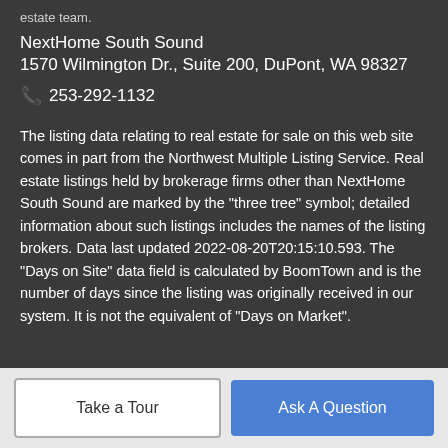estate team.
NextHome South Sound
1570 Wilmington Dr., Suite 200, DuPont, WA 98327
📞 253-292-1132
The listing data relating to real estate for sale on this web site comes in part from the Northwest Multiple Listing Service. Real estate listings held by brokerage firms other than NextHome South Sound are marked by the "three tree" symbol; detailed information about such listings includes the names of the listing brokers. Data last updated 2022-08-20T20:15:10.593. The "Days on Site" data field is calculated by BoomTown and is the number of days since the listing was originally received in our system. It is not the equivalent of "Days on Market".
Take a Tour
Ask A Question